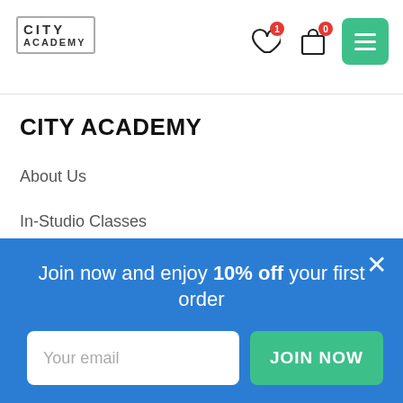City Academy — header with logo, wishlist (1), cart (0), and menu button
CITY ACADEMY
About Us
In-Studio Classes
Careers
Join now and enjoy 10% off your first order
Your email
JOIN NOW